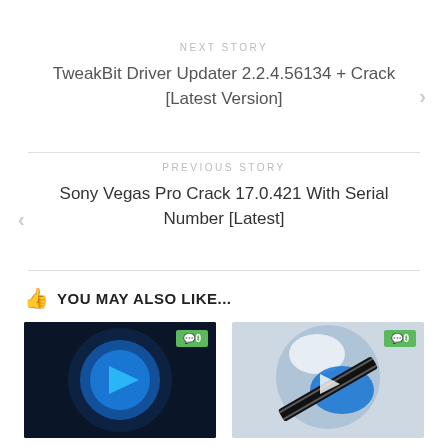NEXT STORY
TweakBit Driver Updater 2.2.4.56134 + Crack [Latest Version]
PREVIOUS STORY
Sony Vegas Pro Crack 17.0.421 With Serial Number [Latest]
YOU MAY ALSO LIKE...
[Figure (screenshot): Thumbnail image with blue play button icon and green comment badge showing 0]
[Figure (screenshot): Thumbnail image with film reel ball icon and green comment badge showing 0]